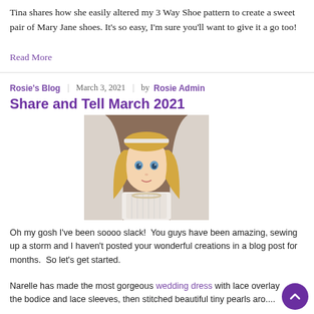Tina shares how she easily altered my 3 Way Shoe pattern to create a sweet pair of Mary Jane shoes. It's so easy, I'm sure you'll want to give it a go too!
Read More
Rosie's Blog | March 3, 2021 | by Rosie Admin
Share and Tell March 2021
[Figure (photo): A doll dressed as a bride in a white lace wedding dress with a veil and pearl necklace, with blonde hair and blue eyes.]
Oh my gosh I've been soooo slack! You guys have been amazing, sewing up a storm and I haven't posted your wonderful creations in a blog post for months. So let's get started.
Narelle has made the most gorgeous wedding dress with lace overlay the bodice and lace sleeves, then stitched beautiful tiny pearls aro....